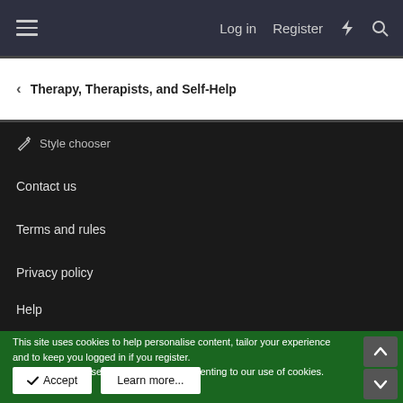Log in  Register
Therapy, Therapists, and Self-Help
Style chooser
Contact us
Terms and rules
Privacy policy
Help
This site uses cookies to help personalise content, tailor your experience and to keep you logged in if you register.
By continuing to use this site, you are consenting to our use of cookies.
Accept  Learn more...